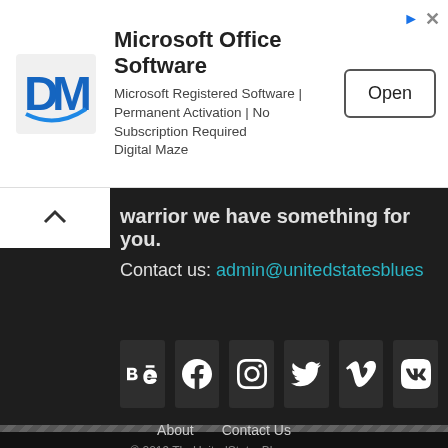[Figure (other): Advertisement banner: Digital Maze logo (DM), Microsoft Office Software ad with Open button]
warrior we have something for you.
Contact us: admin@unitedstatesblues
[Figure (other): Social media icons row: Behance, Facebook, Instagram, Twitter, Vimeo, VK]
About  Contact Us  © 2019 TheUnitedStatesBlues.com